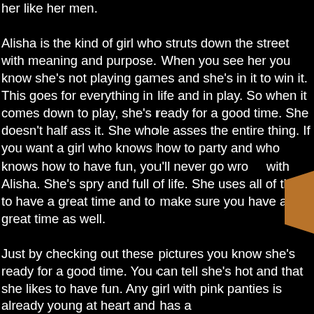her like her men. Alisha is the kind of girl who struts down the street with meaning and purpose. When you see her you know she's not playing games and she's in it to win it. This goes for everything in life and in play. So when it comes down to play, she's ready for a good time. She doesn't half ass it. She whole asses the entire thing. If you want a girl who knows how to party and who knows how to have fun, you'll never go wrong with Alisha. She's spry and full of life. She uses all of this to have a great time and to make sure you have a great time as well. Just by checking out these pictures you know she's ready for a good time. You can tell she's hot and that she likes to have fun. Any girl with pink panties is already young at heart and has a